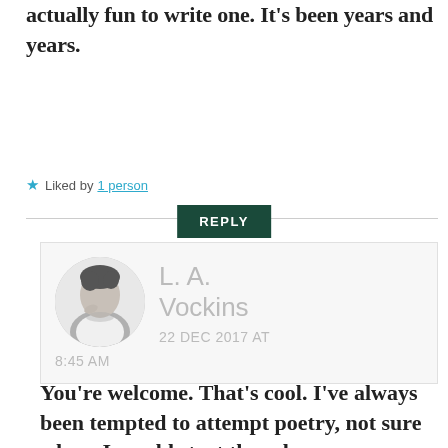actually fun to write one. It's been years and years.
★ Liked by 1 person
REPLY
[Figure (photo): Avatar photo of L. A. Vockins, a man posing with hand near face, black and white style, circular crop]
L. A. Vockins
22 DEC 2017 AT
8:45 AM
You're welcome. That's cool. I've always been tempted to attempt poetry, not sure where I would start though